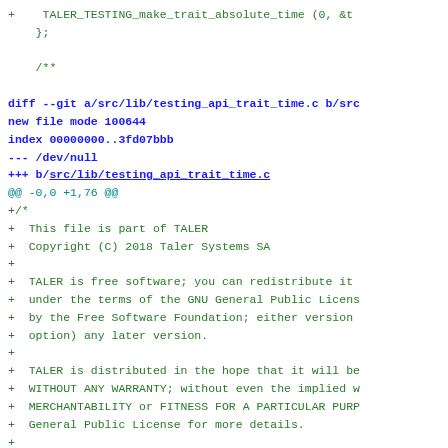Diff output showing a new file src/lib/testing_api_trait_time.c being added to a git repository, with license header content.